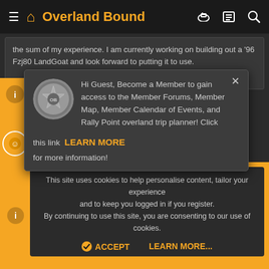Overland Bound
the sum of my experience. I am currently working on building out a '96 Fzj80 LandGoat and look forward to putting it to use.
Click to expand...
[Figure (screenshot): Popup modal: Hi Guest, Become a Member to gain access to the Member Forums, Member Map, Member Calendar of Events, and Rally Point overland trip planner! Click this link LEARN MORE for more information! With Overland Bound coin logo and X close button.]
n a great area for ex... you were an EMT, I sp... ense is expired now a...
Rank III Member Expedition Adventure Investor
This site uses cookies to help personalise content, tailor your experience and to keep you logged in if you register. By continuing to use this site, you are consenting to our use of cookies.
ACCEPT   LEARN MORE...